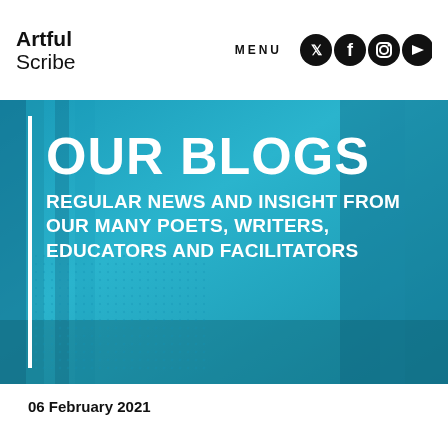Artful Scribe — MENU (social icons: Twitter, Facebook, Instagram, YouTube)
[Figure (photo): Hero banner with blue tinted curtain/room background and bold white uppercase text: OUR BLOGS — REGULAR NEWS AND INSIGHT FROM OUR MANY POETS, WRITERS, EDUCATORS AND FACILITATORS]
06 February 2021